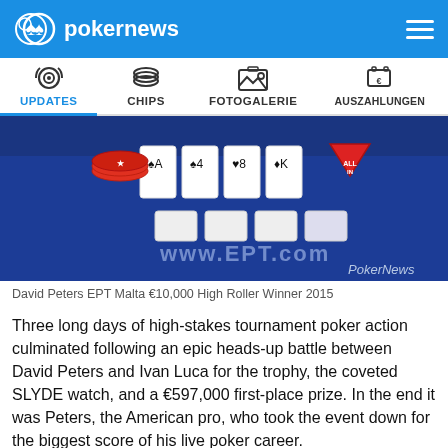pokernews
[Figure (photo): Poker table with PokerStars cards, chips, and All In triangle marker on blue felt, with www.ept.com branding visible. PokerNews watermark bottom right.]
David Peters EPT Malta €10,000 High Roller Winner 2015
Three long days of high-stakes tournament poker action culminated following an epic heads-up battle between David Peters and Ivan Luca for the trophy, the coveted SLYDE watch, and a €597,000 first-place prize. In the end it was Peters, the American pro, who took the event down for the biggest score of his live poker career.